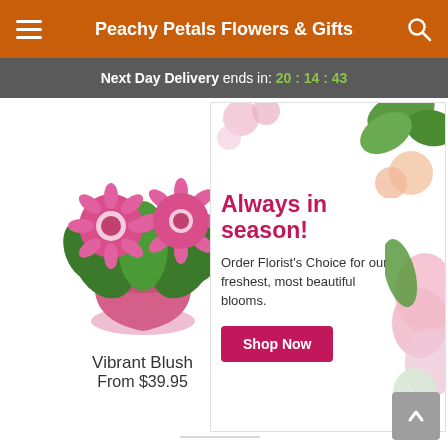Peachy Petals Flowers & Gifts
Next Day Delivery ends in: 20 : 14 : 43
[Figure (photo): Pink gerbera daisy flower arrangement in a pink pot — Vibrant Blush product photo]
Vibrant Blush
From $39.95
[Figure (infographic): Promotional banner with flowers: 'Always in season! Order Florist's Choice for our freshest, most beautiful blooms.' with a pink Shop Now button]